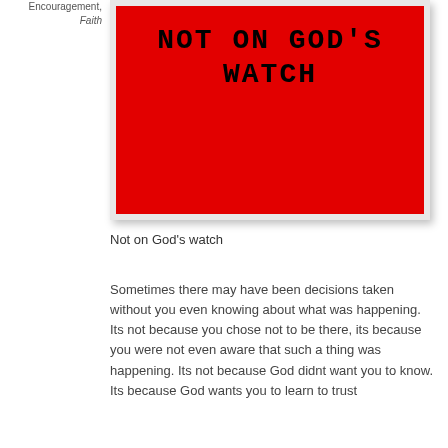Encouragement, Faith
[Figure (illustration): Book cover with red background and bold black text reading 'NOT ON GOD'S WATCH']
Not on God's watch
Sometimes there may have been decisions taken without you even knowing about what was happening. Its not because you chose not to be there, its because you were not even aware that such a thing was happening. Its not because God didnt want you to know. Its because God wants you to learn to trust